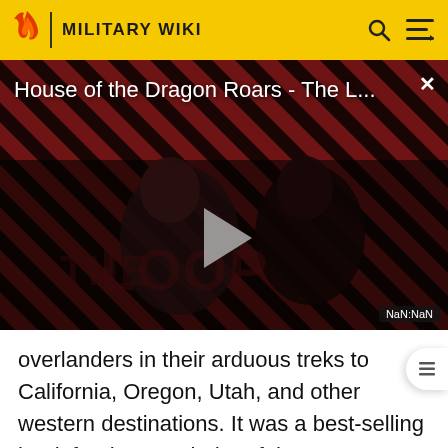MILITARY WIKI
[Figure (screenshot): Video thumbnail for 'House of the Dragon Roars - The L...' with diagonal red and dark stripe background, two figures, a play button, THE LOOP text watermark, and NaN:NaN timer label. Close X button in top right.]
overlanders in their arduous treks to California, Oregon, Utah, and other western destinations. It was a best-selling book for the remainder of the century. Andrew J. Birtle, author of U.S. Army Counterinsurgency and Contingency Operations Doctrine 1860–1941, has